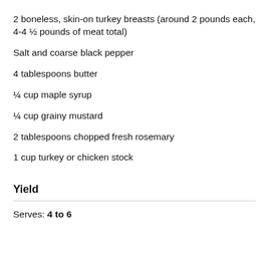2 boneless, skin-on turkey breasts (around 2 pounds each, 4-4 ½ pounds of meat total)
Salt and coarse black pepper
4 tablespoons butter
¼ cup maple syrup
¼ cup grainy mustard
2 tablespoons chopped fresh rosemary
1 cup turkey or chicken stock
Yield
Serves: 4 to 6